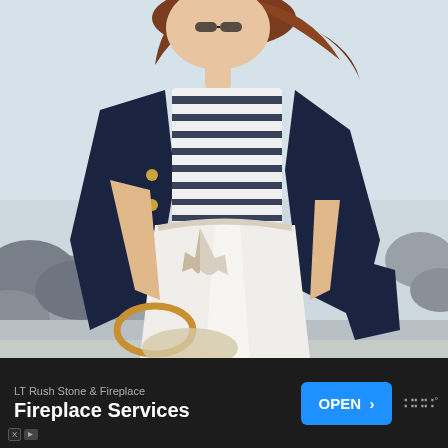[Figure (photo): Fashion photo of a woman wearing a navy blazer with gold buttons over a navy and white striped top, white wide-leg shorts with a rope belt, holding a round bamboo bag. Background shows rocky shoreline.]
LT Rush Stone & Fireplace
Fireplace Services
OPEN >